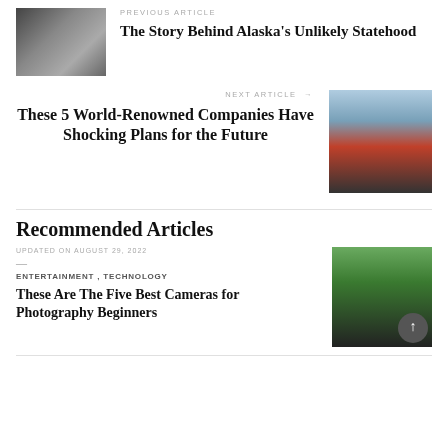[Figure (photo): Black and white photo of men in suits at a signing table, historical image]
PREVIOUS ARTICLE
The Story Behind Alaska's Unlikely Statehood
NEXT ARTICLE →
These 5 World-Renowned Companies Have Shocking Plans for the Future
[Figure (photo): Photo of red and black pickup trucks parked outdoors near mountains]
Recommended Articles
UPDATED ON AUGUST 29, 2022
ENTERTAINMENT , TECHNOLOGY
These Are The Five Best Cameras for Photography Beginners
[Figure (photo): Photo of a person holding a camera with a long lens outdoors]